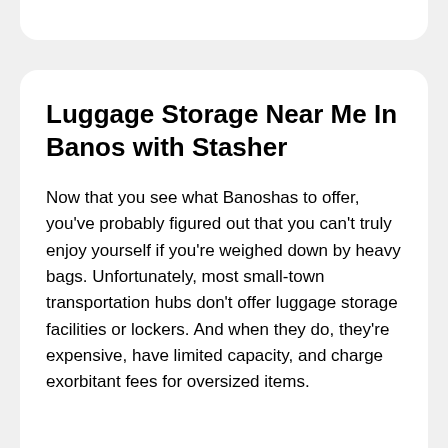Luggage Storage Near Me In Banos with Stasher
Now that you see what Banoshas to offer, you've probably figured out that you can't truly enjoy yourself if you're weighed down by heavy bags. Unfortunately, most small-town transportation hubs don't offer luggage storage facilities or lockers. And when they do, they're expensive, have limited capacity, and charge exorbitant fees for oversized items.